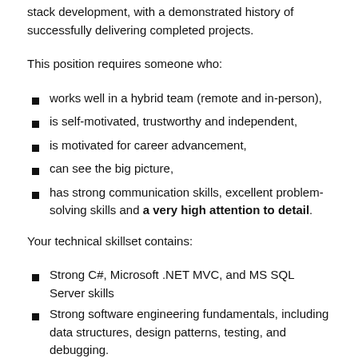stack development, with a demonstrated history of successfully delivering completed projects.
This position requires someone who:
works well in a hybrid team (remote and in-person),
is self-motivated, trustworthy and independent,
is motivated for career advancement,
can see the big picture,
has strong communication skills, excellent problem-solving skills and a very high attention to detail.
Your technical skillset contains:
Strong C#, Microsoft .NET MVC, and MS SQL Server skills
Strong software engineering fundamentals, including data structures, design patterns, testing, and debugging.
Deep familiarity with debugging, performance measurement, and test-driven development.
Experience building reusable components and...